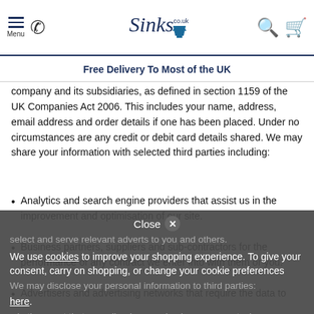Menu | Phone | Sinks.co.uk | Search | Cart
Free Delivery To Most of the UK
company and its subsidiaries, as defined in section 1159 of the UK Companies Act 2006. This includes your name, address, email address and order details if one has been placed. Under no circumstances are any credit or debit card details shared. We may share your information with selected third parties including:
Analytics and search engine providers that assist us in the improvement and optimisation of our site.
Business partners, suppliers and sub-contractors for the performance of any contract we enter into with them or you.
Advertisers and advertising networks that require the data to select and serve relevant adverts to you and others.
We may disclose your personal information to third parties:
in the event that we sell or buy any business or assets, in
We use cookies to improve your shopping experience. To give your consent, carry on shopping, or change your cookie preferences here.